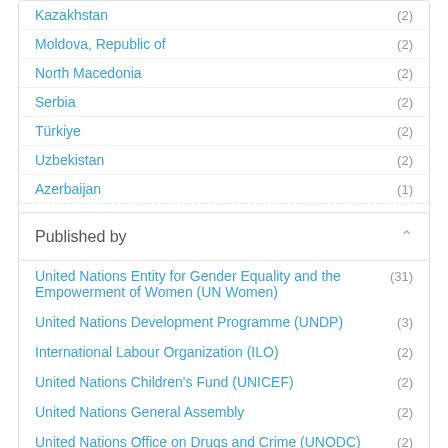Kazakhstan (2)
Moldova, Republic of (2)
North Macedonia (2)
Serbia (2)
Türkiye (2)
Uzbekistan (2)
Azerbaijan (1)
Show more
Published by
United Nations Entity for Gender Equality and the Empowerment of Women (UN Women) (31)
United Nations Development Programme (UNDP) (3)
International Labour Organization (ILO) (2)
United Nations Children's Fund (UNICEF) (2)
United Nations General Assembly (2)
United Nations Office on Drugs and Crime (UNODC) (2)